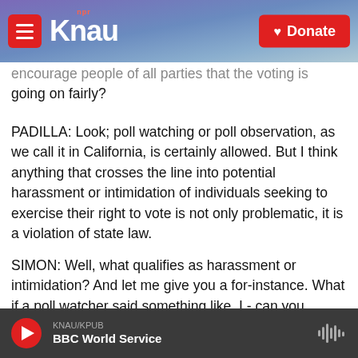KNAU NPR - Donate
encourage people of all parties that the voting is going on fairly?
PADILLA: Look; poll watching or poll observation, as we call it in California, is certainly allowed. But I think anything that crosses the line into potential harassment or intimidation of individuals seeking to exercise their right to vote is not only problematic, it is a violation of state law.
SIMON: Well, what qualifies as harassment or intimidation? And let me give you a for-instance. What if a poll watcher said something like, I - can you demonstrate to me that you're legally
KNAU/KPUB  BBC World Service